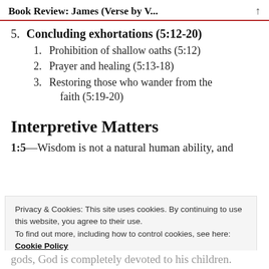Book Review: James (Verse by V...
5. Concluding exhortations (5:12-20)
1. Prohibition of shallow oaths (5:12)
2. Prayer and healing (5:13-18)
3. Restoring those who wander from the faith (5:19-20)
Interpretive Matters
1:5—Wisdom is not a natural human ability, and
Privacy & Cookies: This site uses cookies. By continuing to use this website, you agree to their use.
To find out more, including how to control cookies, see here:
Cookie Policy
gods, God is completely devoted to his children.